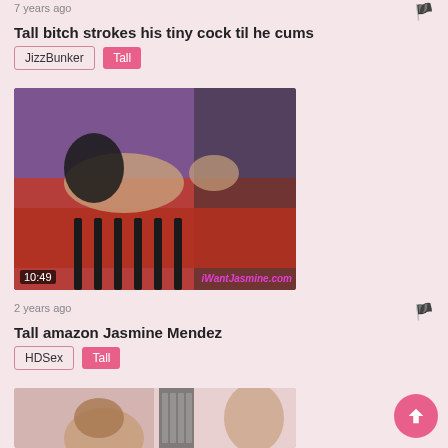7 years ago
Tall bitch strokes his tiny cock til he cums
JizzBunker | Tall
[Figure (photo): Video thumbnail showing a woman with long dark hair lying on a red surface, duration 10:49, watermark iWantJasmine.com]
2 years ago
Tall amazon Jasmine Mendez
HDSex | Tall
[Figure (photo): Partial video thumbnail showing two people, partially visible at bottom of page]